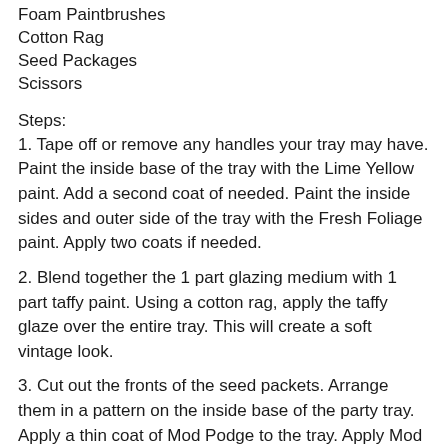Foam Paintbrushes
Cotton Rag
Seed Packages
Scissors
Steps:
1. Tape off or remove any handles your tray may have. Paint the inside base of the tray with the Lime Yellow paint. Add a second coat of needed. Paint the inside sides and outer side of the tray with the Fresh Foliage paint. Apply two coats if needed.
2. Blend together the 1 part glazing medium with 1 part taffy paint. Using a cotton rag, apply the taffy glaze over the entire tray. This will create a soft vintage look.
3. Cut out the fronts of the seed packets. Arrange them in a pattern on the inside base of the party tray. Apply a thin coat of Mod Podge to the tray. Apply Mod Podge to the back of the seed packet, position onto the tray and topcoat with a layer of Mod Podge. Use your fingers to press out any air bubbles. Smooth your brush strokes. Continue with the remaining seed packets. Allow to dry for 12 hours.